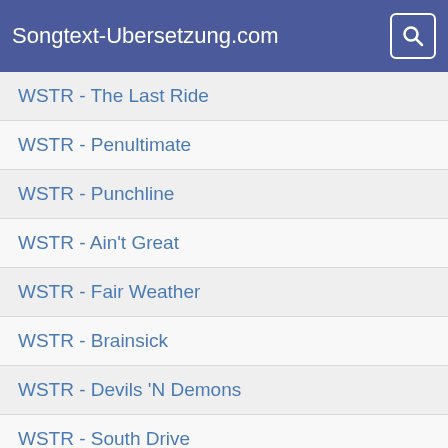Songtext-Ubersetzung.com
WSTR - The Last Ride
WSTR - Penultimate
WSTR - Punchline
WSTR - Ain't Great
WSTR - Fair Weather
WSTR - Brainsick
WSTR - Devils 'N Demons
WSTR - South Drive
WSTR - Graveyard Shift
Ben Webster - Cotton Tail
Nanette Workman - Dis-moi tout